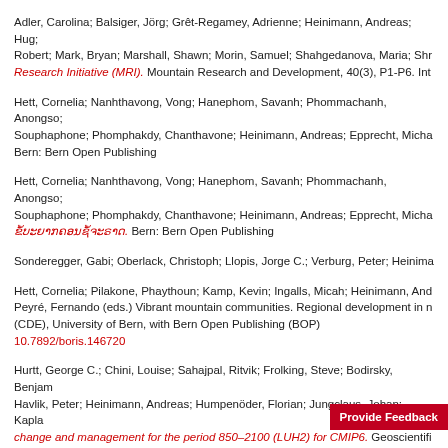Adler, Carolina; Balsiger, Jörg; Grêt-Regamey, Adrienne; Heinimann, Andreas; Hug; Robert; Mark, Bryan; Marshall, Shawn; Morin, Samuel; Shahgedanova, Maria; Shr Research Initiative (MRI). Mountain Research and Development, 40(3), P1-P6. Int
Hett, Cornelia; Nanhthavong, Vong; Hanephom, Savanh; Phommachanh, Anongso; Souphaphone; Phomphakdy, Chanthavone; Heinimann, Andreas; Epprecht, Micha Bern: Bern Open Publishing
Hett, Cornelia; Nanhthavong, Vong; Hanephom, Savanh; Phommachanh, Anongso; Souphaphone; Phomphakdy, Chanthavone; Heinimann, Andreas; Epprecht, Micha [Lao script]. Bern: Bern Open Publishing
Sonderegger, Gabi; Oberlack, Christoph; Llopis, Jorge C.; Verburg, Peter; Heinima
Hett, Cornelia; Pilakone, Phaythoun; Kamp, Kevin; Ingalls, Micah; Heinimann, And Peyré, Fernando (eds.) Vibrant mountain communities. Regional development in n (CDE), University of Bern, with Bern Open Publishing (BOP) 10.7892/boris.146720
Hurtt, George C.; Chini, Louise; Sahajpal, Ritvik; Frolking, Steve; Bodirsky, Benjam Havlik, Peter; Heinimann, Andreas; Humpenöder, Florian; Jungclaus, Johan; Kapla change and management for the period 850–2100 (LUH2) for CMIP6. Geoscientifi
Sonderegger, Gabi; Oberlack, Christoph; Llopis, Jorge C.; Verburg, Peter H.; Heini Resilience Alliance Publications 10.5751/ES-11830-250447
2019
Gabeli, Stefanie; Kittl, Sonia; Dattyiler, Martine; Thomann, An